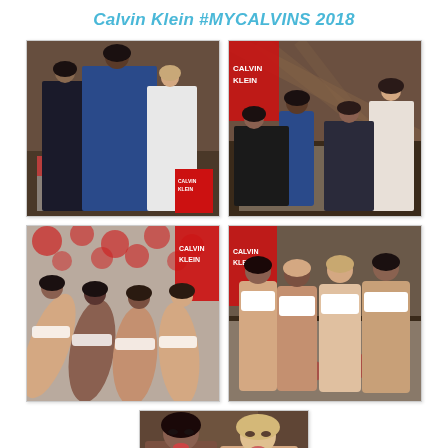Calvin Klein #MYCALVINS 2018
[Figure (photo): Calvin Klein #MYCALVINS 2018 campaign photo showing women posing in a barn setting wearing Calvin Klein jeans and apparel]
[Figure (photo): Calvin Klein #MYCALVINS 2018 campaign photo showing group lounging on a quilt in barn setting]
[Figure (photo): Calvin Klein #MYCALVINS 2018 campaign photo showing women lying on floral quilt in Calvin Klein underwear]
[Figure (photo): Calvin Klein #MYCALVINS 2018 campaign photo showing women sitting in Calvin Klein sports bras]
[Figure (photo): Calvin Klein #MYCALVINS 2018 campaign photo showing two women close-up in barn setting]